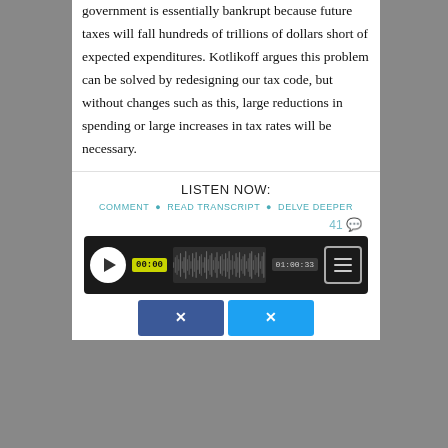government is essentially bankrupt because future taxes will fall hundreds of trillions of dollars short of expected expenditures. Kotlikoff argues this problem can be solved by redesigning our tax code, but without changes such as this, large reductions in spending or large increases in tax rates will be necessary.
LISTEN NOW:
COMMENT • READ TRANSCRIPT • DELVE DEEPER
41 💬
[Figure (screenshot): Audio player widget with play button, time display showing 00:00, waveform visualization, duration 01:00:33, and menu button]
[Figure (screenshot): Two share buttons side by side - Facebook (blue #3b5998) and Twitter (light blue #1da1f2)]